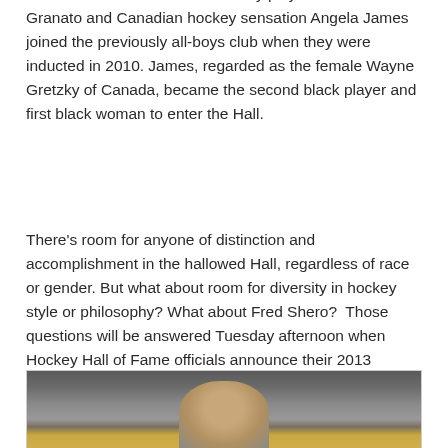was inducted in 2003. U.S. hockey player Cammi Granato and Canadian hockey sensation Angela James joined the previously all-boys club when they were inducted in 2010. James, regarded as the female Wayne Gretzky of Canada, became the second black player and first black woman to enter the Hall.
There's room for anyone of distinction and accomplishment in the hallowed Hall, regardless of race or gender. But what about room for diversity in hockey style or philosophy? What about Fred Shero?  Those questions will be answered Tuesday afternoon when Hockey Hall of Fame officials announce their 2013 inductees Tuesday.
[Figure (photo): A partially visible photograph showing a person's face/head at the bottom, with a blurred crowd or arena background with yellow/gold colors visible.]